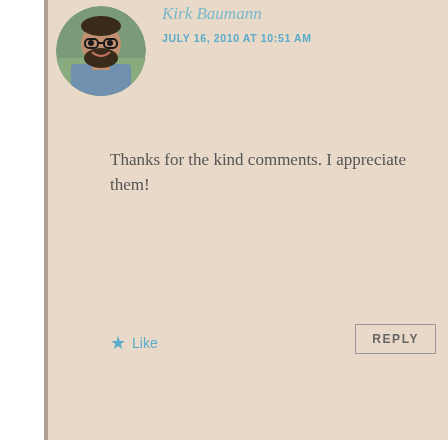Kirk Baumann
JULY 16, 2010 AT 10:51 AM
Thanks for the kind comments. I appreciate them!
Like
REPLY
[Figure (photo): Circular avatar photo of Kirk Baumann, a bearded man with glasses wearing a blue shirt]
faak
JULY 8, 2010 AT 2:58 AM
[Figure (illustration): Default grey circular user avatar silhouette for faak]
Privacy & Cookies: This site uses cookies. By continuing to use this website, you agree to their use.
To find out more, including how to control cookies, see here: Cookie Policy
Close and accept
JULY 16, 2010 AT 10:51 AM